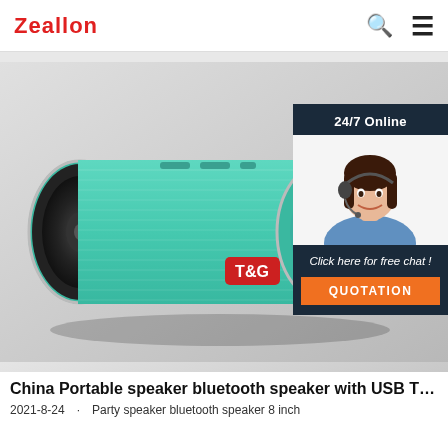Zeallon
[Figure (photo): Teal/mint colored cylindrical Bluetooth speaker (T&G brand) lying on its side on a white/grey background. Overlaid with a customer service chat widget in the upper right showing '24/7 Online', a photo of a woman with a headset, 'Click here for free chat!' text, and a QUOTATION button.]
China Portable speaker bluetooth speaker with USB TF ...
2021-8-24u2003·u2003Party speaker bluetooth speaker 8 inch